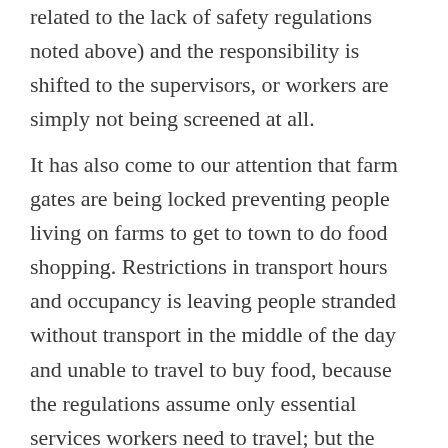related to the lack of safety regulations noted above) and the responsibility is shifted to the supervisors, or workers are simply not being screened at all.
It has also come to our attention that farm gates are being locked preventing people living on farms to get to town to do food shopping. Restrictions in transport hours and occupancy is leaving people stranded without transport in the middle of the day and unable to travel to buy food, because the regulations assume only essential services workers need to travel; but the regulations fail to take into account that all people need public transport to access grocery shops. Centralized food supply via large retailers means that informal traders and spaza shops were initially restricted from trading; as a result this source of food has been interrupted for many living in informal settlements in rural areas and has not recovered properly since easing of the restrictions. Many people in rural areas are living in